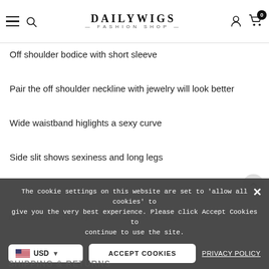DAILYWIGS — FASHION SHOP
Off shoulder bodice with short sleeve
Pair the off shoulder neckline with jewelry will look better
Wide waistband higlights a sexy curve
Side slit shows sexiness and long legs
DRESSBYME dresses for parties available with varied styles and colors
The cookie settings on this website are set to 'allow all cookies' to give you the very best experience. Please click Accept Cookies to continue to use the site.
USD  ACCEPT COOKIES  PRIVACY POLICY
SHIPPING & RETURNS